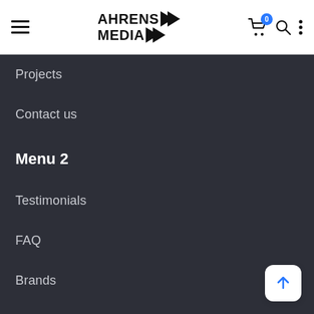AHRENS MEDIA
Projects
Contact us
Menu 2
Testimonials
FAQ
Brands
Coming soon
Gallery Grid Padding